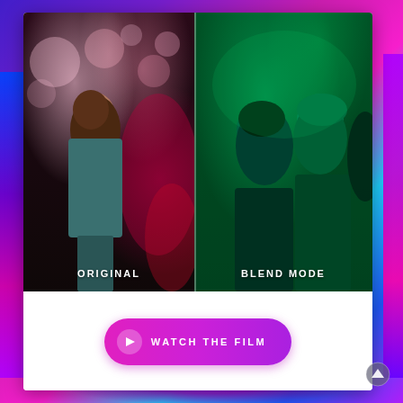[Figure (photo): Side-by-side photo comparison. Left side labeled 'ORIGINAL' shows a young woman at a party with pink/red bokeh lighting. Right side labeled 'BLEND MODE' shows two women at a party with a green color overlay applied.]
ORIGINAL
BLEND MODE
WATCH THE FILM